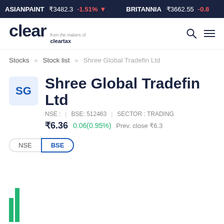ASIANPAINT ₹3482.3 -1.51% ▼   BRITANNIA ₹3662.55 -0.8
[Figure (logo): Clear logo - from the makers of cleartax, with search and hamburger menu icons]
Stocks » Stock list » Shree Global Tradefin Ltd
SG Shree Global Tradefin Ltd
NSE :  |  BSE: 512463  |  SECTOR : TRADING
₹6.36   0.06(0.95%)   Prev. close ₹6.3
NSE  BSE
[Figure (bar-chart): Partial bar chart visible at the bottom of the page showing stock price data]